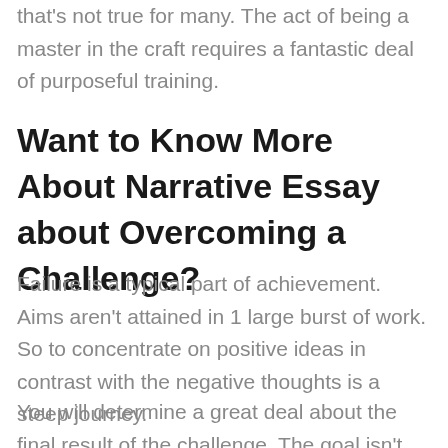that's not true for many. The act of being a master in the craft requires a fantastic deal of purposeful training.
Want to Know More About Narrative Essay about Overcoming a Challenge?
Failure is a typical part of achievement. Aims aren't attained in 1 large burst of work. So to concentrate on positive ideas in contrast with the negative thoughts is a steep journey.
You will determine a great deal about the final result of the challenge. The goal isn't